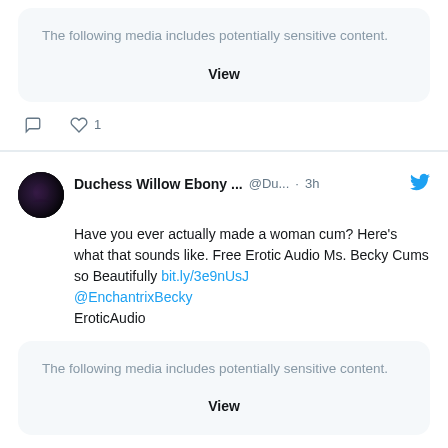The following media includes potentially sensitive content.
View
1
Duchess Willow Ebony ... @Du... · 3h
Have you ever actually made a woman cum? Here's what that sounds like. Free Erotic Audio Ms. Becky Cums so Beautifully bit.ly/3e9nUsJ @EnchantrixBecky EroticAudio
The following media includes potentially sensitive content.
View
1